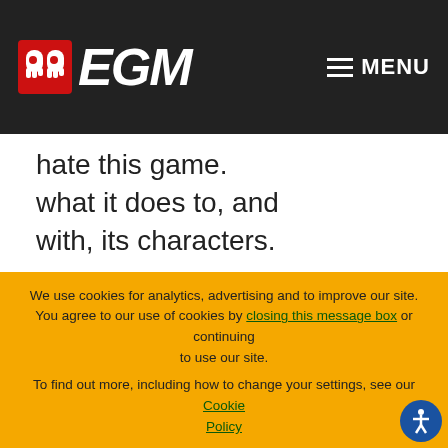EGM — MENU
hate this game. what it does to, and with, its characters.
If nothing else, that should serve as a reminder of how exceptional it is when a game of this profile creates characters and stories that players care so deeply about on anything more than a symbolic level. Most event games star glorified mascots. They're pushed into existence by
We use cookies for analytics, advertising and to improve our site. You agree to our use of cookies by closing this message box or continuing to use our site.

To find out more, including how to change your settings, see our Cookie Policy